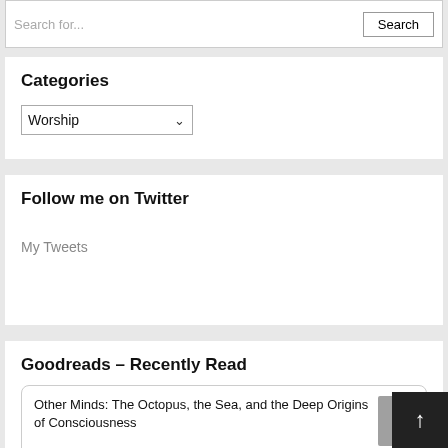Search for...
Categories
Worship
Follow me on Twitter
My Tweets
Goodreads – Recently Read
Other Minds: The Octopus, the Sea, and the Deep Origins of Consciousness